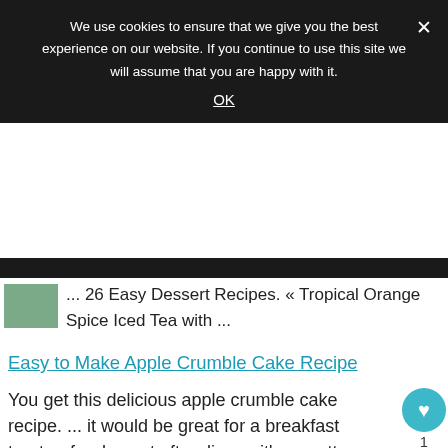We use cookies to ensure that we give you the best experience on our website. If you continue to use this site we will assume that you are happy with it.
OK
... 26 Easy Dessert Recipes. « Tropical Orange Spice Iced Tea with ...
Easy to Make Apple Crumble Cake Recipe
You get this delicious apple crumble cake recipe. ... it would be great for a breakfast treat or for dessert after dinner, it's a pretty versatile recipe.
23 Pumpkin Dessert Recipes Full of Flavour of Fall
WHAT'S NEXT → Over 30 Fresh & Delicious...
Buy Dog Food Easily Online Petsuppliesplus.com